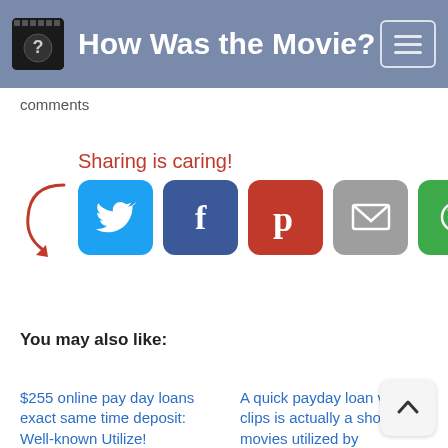How Was the Movie?
comments
[Figure (infographic): Sharing is caring! text with red arrow pointing to social share buttons: Twitter (blue), Facebook (dark blue), Pinterest (red), Email (grey), SMS/messaging (green)]
You may also like:
$255 online pay day loans exact same time deposit: Well-known Utilize!
A quick payday loan vi clips is actually a sho movies utilized by